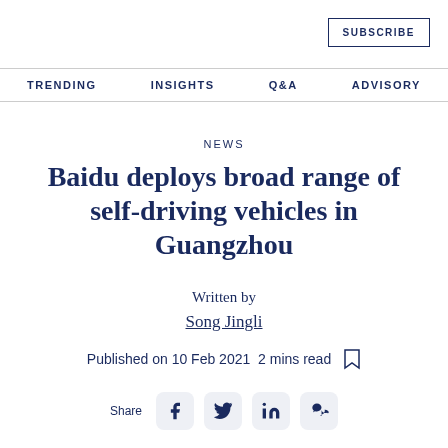SUBSCRIBE
TRENDING   INSIGHTS   Q&A   ADVISORY
NEWS
Baidu deploys broad range of self-driving vehicles in Guangzhou
Written by
Song Jingli
Published on 10 Feb 2021  2 mins read
Share